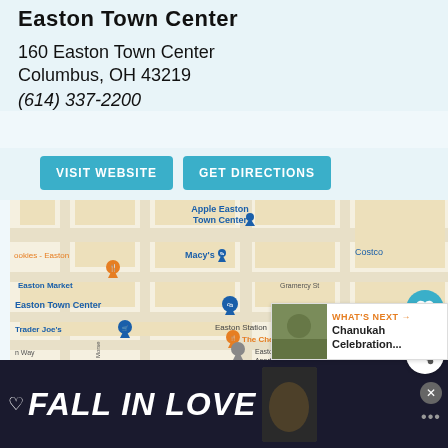Easton Town Center
160 Easton Town Center
Columbus, OH 43219
(614) 337-2200
[Figure (map): Google Maps view of Easton Town Center area in Columbus, OH showing nearby landmarks: Apple Easton Town Center, Macy's, Costco, Ookies-Easton, Easton Market, Easton Town Center (pin), Trader Joe's, Hilton Columbus at Easton, The Cheesecake Factory, Easton Station, Easton Commons Apartments, Gramercy St]
WHAT'S NEXT → Chanukah Celebration...
FALL IN LOVE